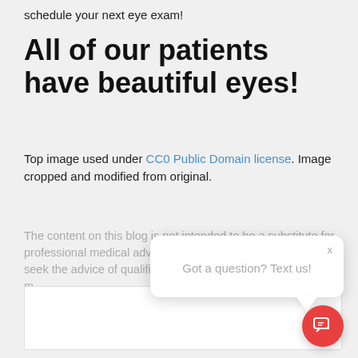schedule your next eye exam!
All of our patients have beautiful eyes!
Top image used under CC0 Public Domain license. Image cropped and modified from original.
The content on this blog is not intended to be a substitute for professional medical advice, diagnosis, or treatment. Always seek the advice of qualified health prov... may have regarding m...
Posted On: February 11, 2021 @ 1:56am
Posted In: Vision Tips
[Figure (other): Social media share icons: Facebook, Twitter, LinkedIn]
[Figure (other): Chat popup widget with message: Got a question? Text us!]